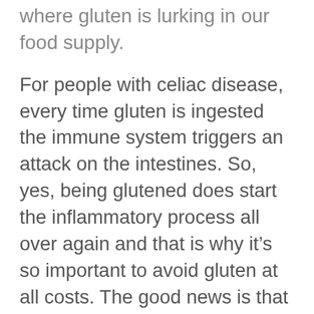where gluten is lurking in our food supply.
For people with celiac disease, every time gluten is ingested the immune system triggers an attack on the intestines. So, yes, being glutened does start the inflammatory process all over again and that is why it’s so important to avoid gluten at all costs. The good news is that you aren’t starting from ground zero, so to speak. By being gluten-free for the past four months you have made tremendous strides to heal your intestines, and you are certainly much better off than before going gluten-free.
When you have been glutened, there are no foods that will stop the symptoms sooner. I recommend eating mild, gluten-free foods that are easy to tolerate and will not further upset